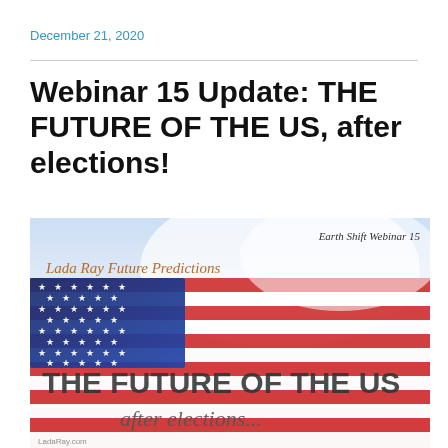December 21, 2020
Webinar 15 Update: THE FUTURE OF THE US, after elections!
[Figure (illustration): Promotional banner image for Earth Shift Webinar 15 by Lada Ray, showing an American flag background with text: 'Earth Shift Webinar 15', 'Lada Ray Future Predictions', 'THE FUTURE OF THE US', 'after elections...', and 'LadaRay.com' watermark at bottom left.]